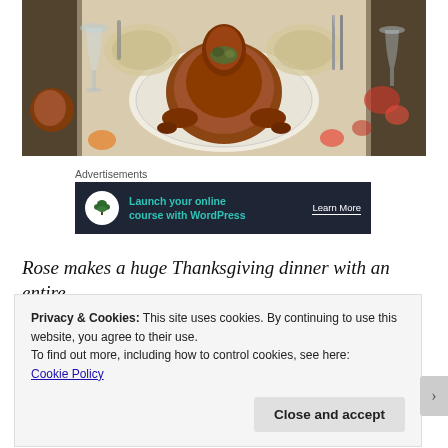[Figure (photo): A roasted turkey on a platter in the center of a dining table set with plates, cutlery, wine glasses, and a festive tablecloth with a fruit and autumn motif.]
Advertisements
[Figure (infographic): Advertisement banner with dark background: bonsai tree icon, teal text 'Launch your online course with WordPress', and white 'Learn More' call-to-action link.]
Rose makes a huge Thanksgiving dinner with an entire
Privacy & Cookies: This site uses cookies. By continuing to use this website, you agree to their use.
To find out more, including how to control cookies, see here:
Cookie Policy
Close and accept